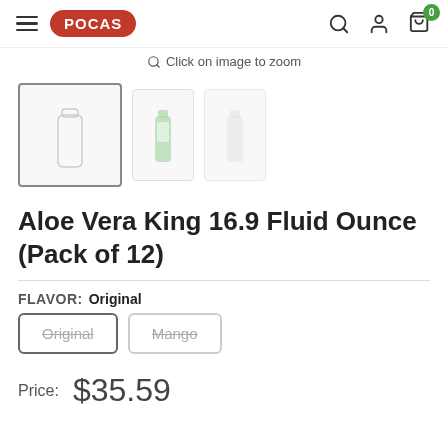POCAS
Click on image to zoom
[Figure (photo): Product thumbnail images: selected main thumbnail (empty/placeholder), small bottle image, small faded bottle image]
Aloe Vera King 16.9 Fluid Ounce (Pack of 12)
FLAVOR: Original
Original | Mango (flavor selector buttons)
Price: $35.59